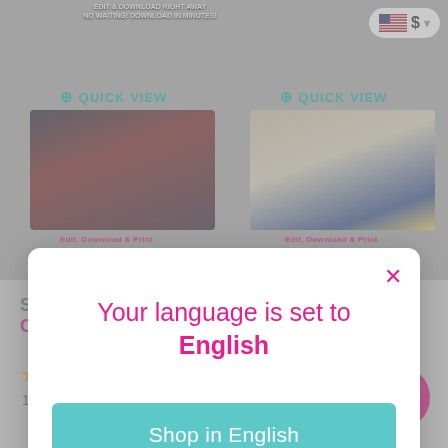[Figure (screenshot): E-commerce website background showing product cards with Quick View buttons and product images, partially obscured by a modal dialog]
Your language is set to English
Shop in English
Change language
Strange Party
Capri Sun Labels
1 review
Bag
0 reviews
— $9.50